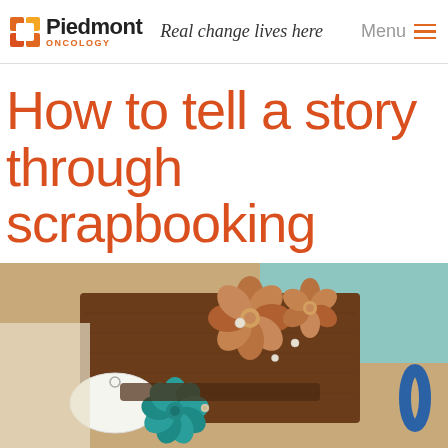Piedmont Oncology — Real change lives here — Menu
How to tell a story through scrapbooking
[Figure (photo): Close-up photo of scrapbooking materials on a wooden surface: decorative leather or fabric flowers in brown/copper tones, a white oval tag, a teal ribbon rose, pearl brads/buttons, and a blue wristband, arranged on a brown leather or wooden background with a teal/green background element.]